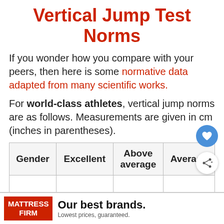Vertical Jump Test Norms
If you wonder how you compare with your peers, then here is some normative data adapted from many scientific works.
For world-class athletes, vertical jump norms are as follows. Measurements are given in cm (inches in parentheses).
| Gender | Excellent | Above average | Average |
| --- | --- | --- | --- |